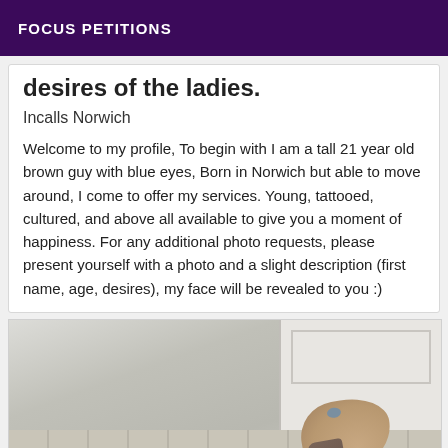FOCUS PETITIONS
desires of the ladies.
Incalls Norwich
Welcome to my profile, To begin with I am a tall 21 year old brown guy with blue eyes, Born in Norwich but able to move around, I come to offer my services. Young, tattooed, cultured, and above all available to give you a moment of happiness. For any additional photo requests, please present yourself with a photo and a slight description (first name, age, desires), my face will be revealed to you :)
[Figure (photo): Photo showing a person's tattooed feet and toes with blue nail polish on a tiled floor near a white door]